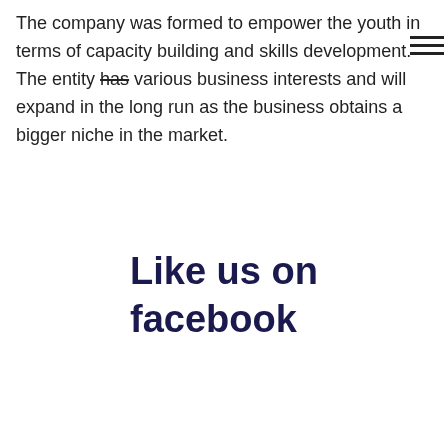The company was formed to empower the youth in terms of capacity building and skills development. The entity has various business interests and will expand in the long run as the business obtains a bigger niche in the market.
Like us on facebook